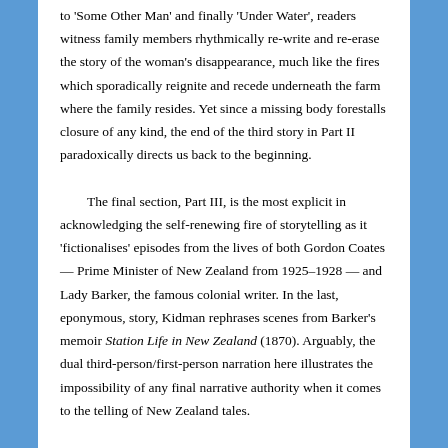to 'Some Other Man' and finally 'Under Water', readers witness family members rhythmically re-write and re-erase the story of the woman's disappearance, much like the fires which sporadically reignite and recede underneath the farm where the family resides. Yet since a missing body forestalls closure of any kind, the end of the third story in Part II paradoxically directs us back to the beginning.
	The final section, Part III, is the most explicit in acknowledging the self-renewing fire of storytelling as it 'fictionalises' episodes from the lives of both Gordon Coates — Prime Minister of New Zealand from 1925–1928 — and Lady Barker, the famous colonial writer. In the last, eponymous, story, Kidman rephrases scenes from Barker's memoir Station Life in New Zealand (1870). Arguably, the dual third-person/first-person narration here illustrates the impossibility of any final narrative authority when it comes to the telling of New Zealand tales.
	The stories in this collection are written with unrushed clarity, unforced compassion, and unmannered economy. Fiona Kidman is a veteran storyteller whose